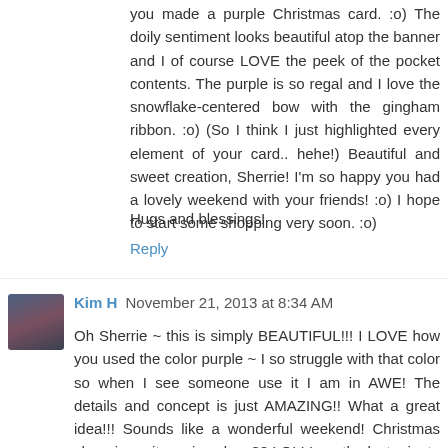you made a purple Christmas card. :o) The doily sentiment looks beautiful atop the banner and I of course LOVE the peek of the pocket contents. The purple is so regal and I love the snowflake-centered bow with the gingham ribbon. :o) (So I think I just highlighted every element of your card.. hehe!) Beautiful and sweet creation, Sherrie! I'm so happy you had a lovely weekend with your friends! :o) I hope to start some shopping very soon. :o)
Hugs and blessings!
Reply
Kim H November 21, 2013 at 8:34 AM
Oh Sherrie ~ this is simply BEAUTIFUL!!! I LOVE how you used the color purple ~ I so struggle with that color so when I see someone use it I am in AWE! The details and concept is just AMAZING!! What a great idea!!! Sounds like a wonderful weekend! Christmas shopping ~ it coming close?? LOL! I am the last minute person and I absolutely HATE that I do that! I honestly can't think about it until after